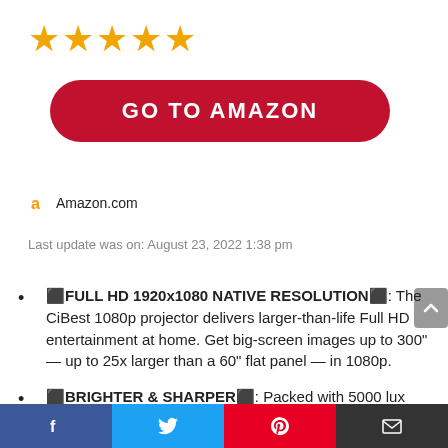[Figure (other): Five gold star rating icons]
[Figure (other): Red rounded button with text GO TO AMAZON]
Amazon.com
Last update was on: August 23, 2022 1:38 pm
🔶FULL HD 1920x1080 NATIVE RESOLUTION🔷: The CiBest 1080p projector delivers larger-than-life Full HD entertainment at home. Get big-screen images up to 300" — up to 25x larger than a 60" flat panel — in 1080p.
🔶BRIGHTER & SHARPER🔷: Packed with 5000 lux brightness and 5000:1 high contrast ratio, this
[Figure (other): Bottom social share bar with Facebook, Twitter, Pinterest, and email icons]